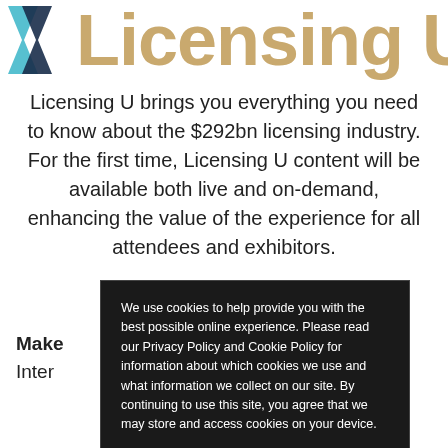[Figure (logo): Licensing U logo with two overlapping triangular arrow shapes in teal/dark blue and a partial large tan/gold text 'Licensing U' heading]
Licensing U brings you everything you need to know about the $292bn licensing industry. For the first time, Licensing U content will be available both live and on-demand, enhancing the value of the experience for all attendees and exhibitors.
Make ... nsing Inter... ount
We use cookies to help provide you with the best possible online experience. Please read our Privacy Policy and Cookie Policy for information about which cookies we use and what information we collect on our site. By continuing to use this site, you agree that we may store and access cookies on your device.
I AGREE